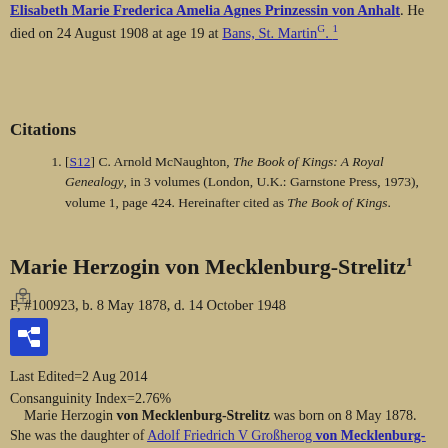Elisabeth Marie Frederica Amelia Agnes Prinzessin von Anhalt. He died on 24 August 1908 at age 19 at Bans, St. MartinG. 1
Citations
[S12] C. Arnold McNaughton, The Book of Kings: A Royal Genealogy, in 3 volumes (London, U.K.: Garnstone Press, 1973), volume 1, page 424. Hereinafter cited as The Book of Kings.
Marie Herzogin von Mecklenburg-Strelitz1
F, #100923, b. 8 May 1878, d. 14 October 1948
Last Edited=2 Aug 2014
Consanguinity Index=2.76%
Marie Herzogin von Mecklenburg-Strelitz was born on 8 May 1878. She was the daughter of Adolf Friedrich V Großherog von Mecklenburg-Strelitz and Elisabeth Marie Frederica Amelia Agnes Prinzessin von Anhalt. She married,